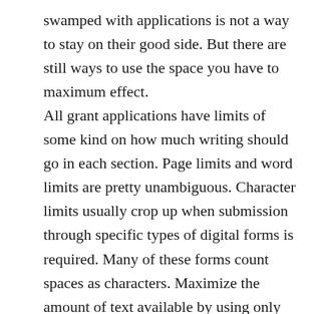swamped with applications is not a way to stay on their good side. But there are still ways to use the space you have to maximum effect.
All grant applications have limits of some kind on how much writing should go in each section. Page limits and word limits are pretty unambiguous. Character limits usually crop up when submission through specific types of digital forms is required. Many of these forms count spaces as characters. Maximize the amount of text available by using only one space between sentences. (Two spaces between sentences is a hangover from the days of typewriters and not a habit that holds up well now). Make sure there are no extra spaces by searching for and replacing “  ” (two